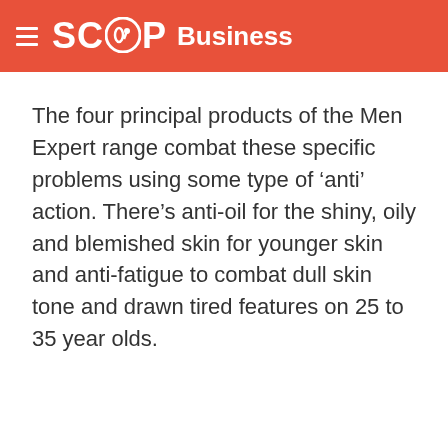SCOOP Business
The four principal products of the Men Expert range combat these specific problems using some type of ‘anti’ action. There’s anti-oil for the shiny, oily and blemished skin for younger skin and anti-fatigue to combat dull skin tone and drawn tired features on 25 to 35 year olds.